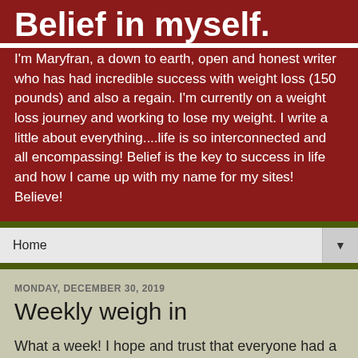Belief in myself.
I'm Maryfran, a down to earth, open and honest writer who has had incredible success with weight loss (150 pounds) and also a regain. I'm currently on a weight loss journey and working to lose my weight. I write a little about everything....life is so interconnected and all encompassing! Belief is the key to success in life and how I came up with my name for my sites! Believe!
Home
MONDAY, DECEMBER 30, 2019
Weekly weigh in
What a week!  I hope and trust that everyone had a fabulous holiday week!  It was a crazy one for me.  I took some time off work but I feel like I was running the whole time we were off work!   NUTS I tell ya!   It was a good one though...lots of love, laughter and.....FOOD!